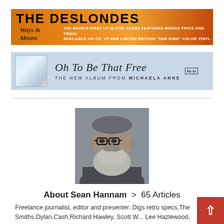[Figure (infographic): The Deslondes 'Ways & Means' album advertisement banner. Orange/amber gradient background. Text reads: THE DESLONDES - Ways & Means - The band's first LP in five years features Margo Price and Twain. Available on CD, LP and limited edition 'Sun King' color vinyl.]
[Figure (infographic): Michaela Anne 'Oh To Be That Free' album advertisement banner. Light blue background with small album cover image on left. Cursive title text and subtitle: THE NEW ALBUM FROM MICHAELA ANNE.]
[Figure (photo): Black and white portrait photograph of Sean Hannam, a middle-aged man with glasses and a large beard, wearing a suit jacket.]
About Sean Hannam > 65 Articles
Freelance journalist, editor and presenter. Digs retro specs,The Smiths,Dylan,Cash,Richard Hawley, Scott W... Lee Hazlewood, country / Americana and '50s/'60s p...